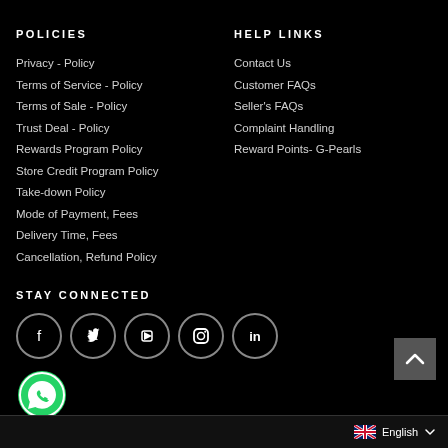POLICIES
Privacy - Policy
Terms of Service - Policy
Terms of Sale - Policy
Trust Deal - Policy
Rewards Program Policy
Store Credit Program Policy
Take-down Policy
Mode of Payment, Fees
Delivery Time, Fees
Cancellation, Refund Policy
HELP LINKS
Contact Us
Customer FAQs
Seller's FAQs
Complaint Handling
Reward Points- G-Pearls
STAY CONNECTED
[Figure (infographic): Social media icons: Facebook, Twitter, YouTube, Instagram, LinkedIn in circles, plus WhatsApp green circle below]
[Figure (infographic): Back to top arrow button (grey square with up caret)]
English